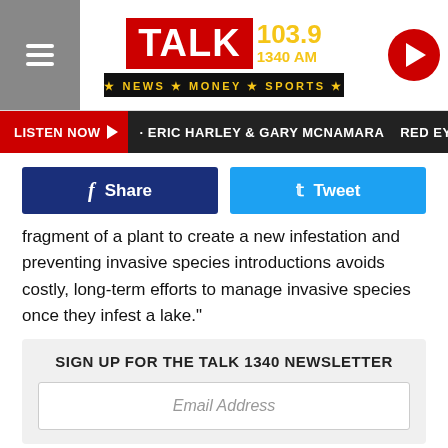TALK 103.9 / 1340 AM · NEWS · MONEY · SPORTS
LISTEN NOW · ERIC HARLEY & GARY MCNAMARA · RED EYE RAD
f Share
Tweet
fragment of a plant to create a new infestation and preventing invasive species introductions avoids costly, long-term efforts to manage invasive species once they infest a lake."
SIGN UP FOR THE TALK 1340 NEWSLETTER
Email Address
Zebra mussels are currently found in 31 Texas lakes across six different river basins across the state. The TPWD says itself, and partner organizations, monitor lakes around the